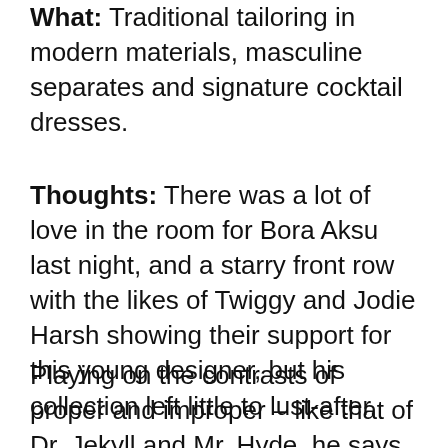What: Traditional tailoring in modern materials, masculine separates and signature cocktail dresses.
Thoughts: There was a lot of love in the room for Bora Aksu last night, and a starry front row with the likes of Twiggy and Jodie Harsh showing their support for this young designer, but his collection left little to lust-after.
Playing on the contrasts of proper and improper – like that of Dr. Jekyll and Mr. Hyde, he says – Aksu's autumn collection is heavily focused on tailoring with traditional masculine-Victorian jackets, capes and bow ties set against feminine pleats and cocktail dresses, a combination which, for us, fell short for feeling